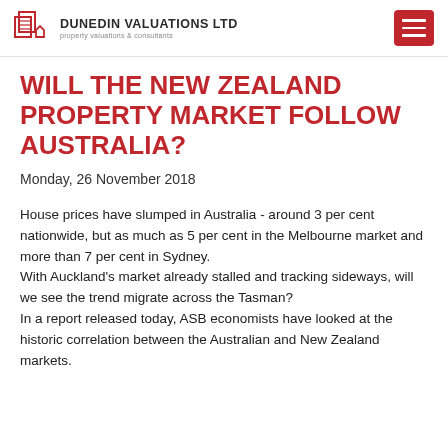DUNEDIN VALUATIONS LTD
WILL THE NEW ZEALAND PROPERTY MARKET FOLLOW AUSTRALIA?
Monday, 26 November 2018
House prices have slumped in Australia - around 3 per cent nationwide, but as much as 5 per cent in the Melbourne market and more than 7 per cent in Sydney.
With Auckland's market already stalled and tracking sideways, will we see the trend migrate across the Tasman?
In a report released today, ASB economists have looked at the historic correlation between the Australian and New Zealand markets.